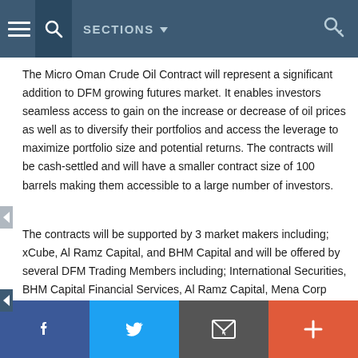SECTIONS
The Micro Oman Crude Oil Contract will represent a significant addition to DFM growing futures market. It enables investors seamless access to gain on the increase or decrease of oil prices as well as to diversify their portfolios and access the leverage to maximize portfolio size and potential returns. The contracts will be cash-settled and will have a smaller contract size of 100 barrels making them accessible to a large number of investors.
The contracts will be supported by 3 market makers including; xCube, Al Ramz Capital, and BHM Capital and will be offered by several DFM Trading Members including; International Securities, BHM Capital Financial Services, Al Ramz Capital, Mena Corp Financial Services, Al Dar Shares and Bonds, SICO Financial Brokerage, EFG Hermes (UAE) and Arqaam Securities.
f  Twitter  Email  +